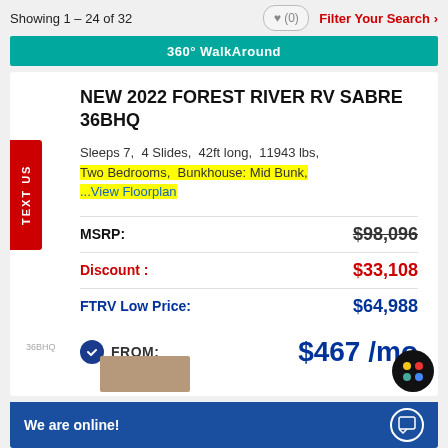Showing 1 – 24 of 32   ♥ (0)   Filter Your Search >
[Figure (other): Teal banner reading 360° WalkAround]
NEW 2022 FOREST RIVER RV SABRE 36BHQ
Sleeps 7,  4 Slides,  42ft long,  11943 lbs, Two Bedrooms,  Bunkhouse: Mid Bunk, ...View Floorplan
| Label | Value |
| --- | --- |
| MSRP: | $98,096 |
| Discount: | $33,108 |
| FTRV Low Price: | $64,988 |
FROM: $467 /mo
[Figure (other): Floor plan thumbnail for 36BHQ model showing room layout]
We are online!